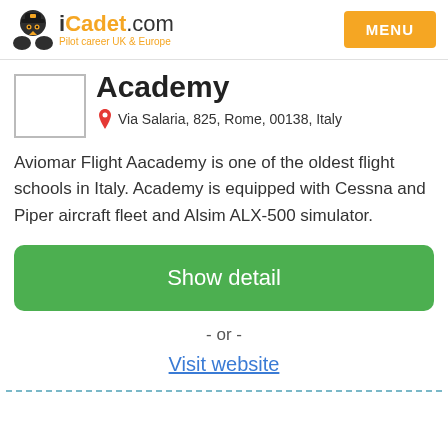iCadet.com — Pilot career UK & Europe | MENU
Academy
Via Salaria, 825, Rome, 00138, Italy
Aviomar Flight Aacademy is one of the oldest flight schools in Italy. Academy is equipped with Cessna and Piper aircraft fleet and Alsim ALX-500 simulator.
Show detail
- or -
Visit website